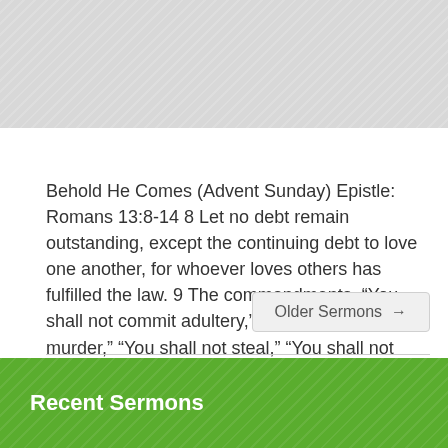[Figure (photo): Gray textured image placeholder at top of page]
Behold He Comes (Advent Sunday) Epistle: Romans 13:8-14 8 Let no debt remain outstanding, except the continuing debt to love one another, for whoever loves others has fulfilled the law. 9 The commandments, “You shall not commit adultery,” “You shall not murder,” “You shall not steal,” “You shall not covet,” and whatever other command there may be, […]
Older Sermons →
Recent Sermons